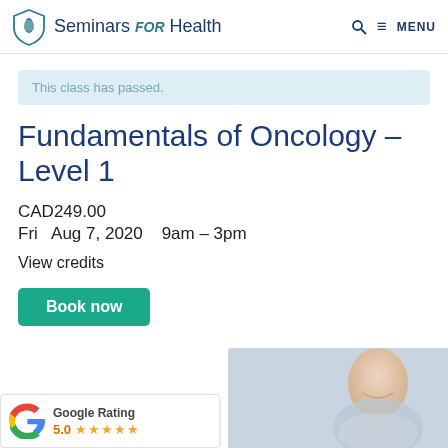Seminars FOR Health   🔍 ≡ MENU
This class has passed.
Fundamentals of Oncology – Level 1
CAD249.00
Fri   Aug 7, 2020   9am – 3pm
View credits
Book now
[Figure (logo): Google Rating widget showing 5.0 stars with Google G logo]
[Figure (photo): Smiling woman, partial view, bottom right of page]